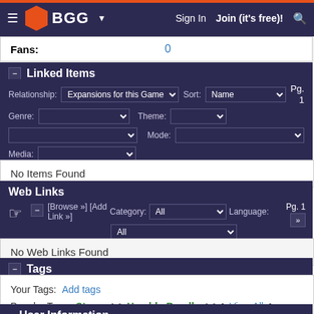BGG - Sign In  Join (it's free)!
Fans: 0
Linked Items
Relationship: Expansions for this Game  Sort: Name  Genre:  Theme:  Mode:  Media:  Pg. 1
No Items Found
Web Links
[Browse »] [Add Link »]  Category: All  Language: All  Pg. 1
No Web Links Found
Tags
Your Tags: Add tags
Popular Tags: Steam [+] Humble-Bundle [+] [View All]
User Information